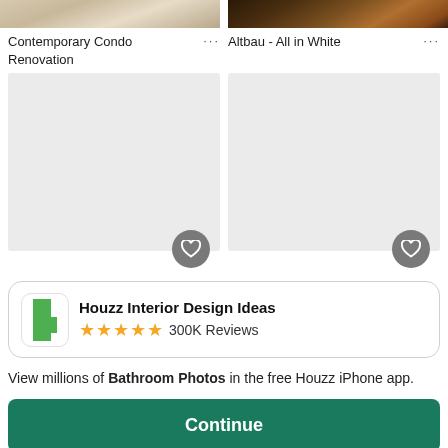[Figure (screenshot): Top portion of two interior design photos - left shows a light beige/cream interior, right shows a darker warm-toned interior]
Contemporary Condo Renovation ···
Altbau - All in White ···
[Figure (screenshot): Two gray placeholder image boxes with heart/save buttons at bottom right corners]
Houzz Interior Design Ideas
★★★★★ 300K Reviews
View millions of Bathroom Photos in the free Houzz iPhone app.
Continue
Go to Mobile Site